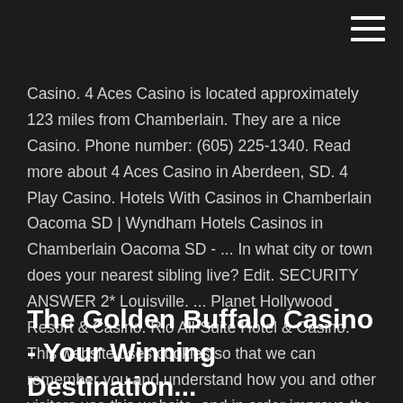[Figure (other): Hamburger menu icon (three horizontal white lines) in top-right corner]
Casino. 4 Aces Casino is located approximately 123 miles from Chamberlain. They are a nice Casino. Phone number: (605) 225-1340. Read more about 4 Aces Casino in Aberdeen, SD. 4 Play Casino. Hotels With Casinos in Chamberlain Oacoma SD | Wyndham Hotels Casinos in Chamberlain Oacoma SD - ... In what city or town does your nearest sibling live? Edit. SECURITY ANSWER 2* Louisville. ... Planet Hollywood Resort & Casino. Rio All-Suite Hotel & Casino. This website uses cookies so that we can remember you and understand how you and other visitors use this website, and in order improve the user ... Best 5 Casinos in Chamberlain, SD with Reviews - YP.com
The Golden Buffalo Casino - Your Winning Destination...